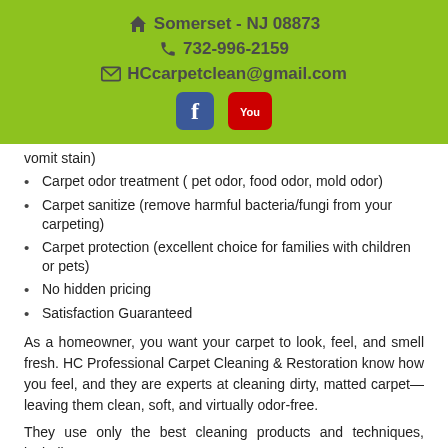Somerset - NJ 08873
732-996-2159
HCcarpetclean@gmail.com
vomit stain)
Carpet odor treatment ( pet odor, food odor, mold odor)
Carpet sanitize (remove harmful bacteria/fungi from your carpeting)
Carpet protection (excellent choice for families with children or pets)
No hidden pricing
Satisfaction Guaranteed
As a homeowner, you want your carpet to look, feel, and smell fresh. HC Professional Carpet Cleaning & Restoration know how you feel, and they are experts at cleaning dirty, matted carpet—leaving them clean, soft, and virtually odor-free.
They use only the best cleaning products and techniques, including...